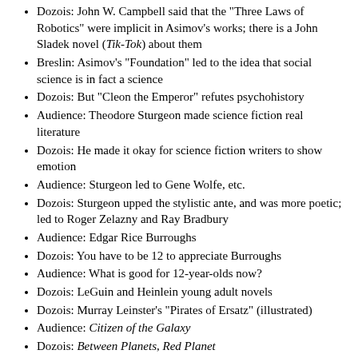Dozois: John W. Campbell said that the "Three Laws of Robotics" were implicit in Asimov's works; there is a John Sladek novel (Tik-Tok) about them
Breslin: Asimov's "Foundation" led to the idea that social science is in fact a science
Dozois: But "Cleon the Emperor" refutes psychohistory
Audience: Theodore Sturgeon made science fiction real literature
Dozois: He made it okay for science fiction writers to show emotion
Audience: Sturgeon led to Gene Wolfe, etc.
Dozois: Sturgeon upped the stylistic ante, and was more poetic; led to Roger Zelazny and Ray Bradbury
Audience: Edgar Rice Burroughs
Dozois: You have to be 12 to appreciate Burroughs
Audience: What is good for 12-year-olds now?
Dozois: LeGuin and Heinlein young adult novels
Dozois: Murray Leinster's "Pirates of Ersatz" (illustrated)
Audience: Citizen of the Galaxy
Dozois: Between Planets, Red Planet
Audience: Orson Scott Card, Lois McMaster Bujold, "Tom Swift"
Philip K. Dick wasn't writing satire, he was writing what the 21st century would be like
Audience: Kim Stanley Robinson